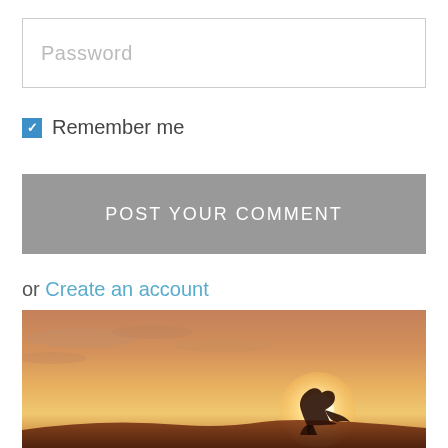Password
Remember me
POST YOUR COMMENT
or Create an account
[Figure (photo): Silhouette of a person kneeling at sunset, appearing to hold or catch the sun with their hands, warm orange and golden sky with clouds in the background]